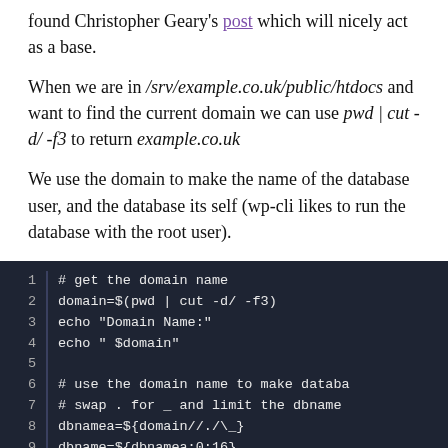found Christopher Geary's post which will nicely act as a base.
When we are in /srv/example.co.uk/public/htdocs and want to find the current domain we can use pwd | cut -d/ -f3 to return example.co.uk
We use the domain to make the name of the database user, and the database its self (wp-cli likes to run the database with the root user).
[Figure (screenshot): Code block showing shell script lines 1-9 on dark background: getting domain name using pwd | cut, echoing domain, and creating database name variables]